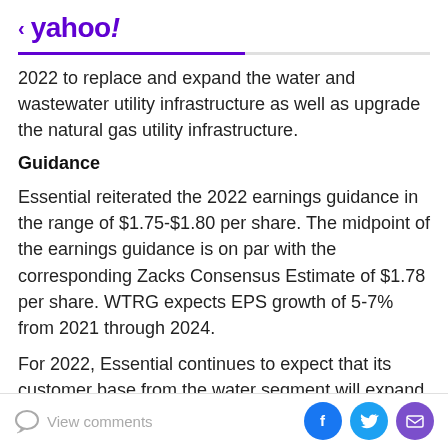< yahoo!
2022 to replace and expand the water and wastewater utility infrastructure as well as upgrade the natural gas utility infrastructure.
Guidance
Essential reiterated the 2022 earnings guidance in the range of $1.75-$1.80 per share. The midpoint of the earnings guidance is on par with the corresponding Zacks Consensus Estimate of $1.78 per share. WTRG expects EPS growth of 5-7% from 2021 through 2024.
For 2022, Essential continues to expect that its customer base from the water segment will expand 2-3% due to
View comments